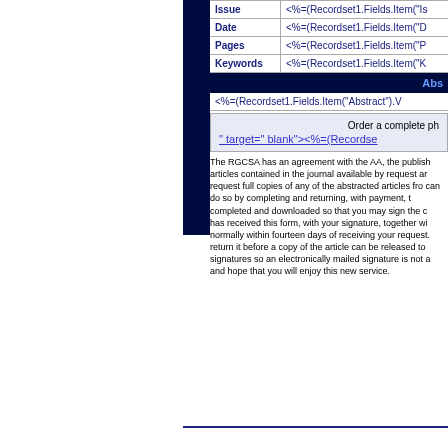| Field | Value |
| --- | --- |
| Issue | <%=(Recordset1.Fields.Item("Is |
| Date | <%=(Recordset1.Fields.Item("D |
| Pages | <%=(Recordset1.Fields.Item("P |
| Keywords | <%=(Recordset1.Fields.Item("K |
Abs
<%=(Recordset1.Fields.Item("Abstract").V
Order a complete ph
" target=" blank"><%=(Recordse
The RGCSA has an agreement with the AA, the publish articles contained in the journal available by request ar request full copies of any of the abstracted articles fro can do so by completing and returning, with payment, t completed and downloaded so that you may sign the c has received this form, with your signature, together wi normally within fourteen days of receiving your request return it before a copy of the article can be released to signatures so an electronically mailed signature is not a and hope that you will enjoy this new service.